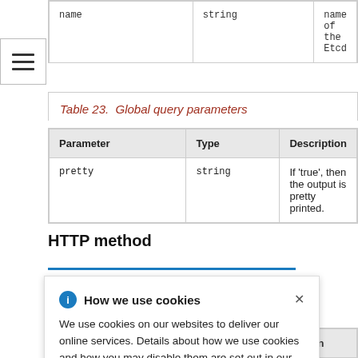| name | string | name of the Etcd |
| --- | --- | --- |
Table 23. Global query parameters
| Parameter | Type | Description |
| --- | --- | --- |
| pretty | string | If 'true', then the output is pretty printed. |
HTTP method
How we use cookies
We use cookies on our websites to deliver our online services. Details about how we use cookies and how you may disable them are set out in our Privacy Statement. By using this website you agree to our use of cookies.
| Parameter | Type | Description |
| --- | --- | --- |